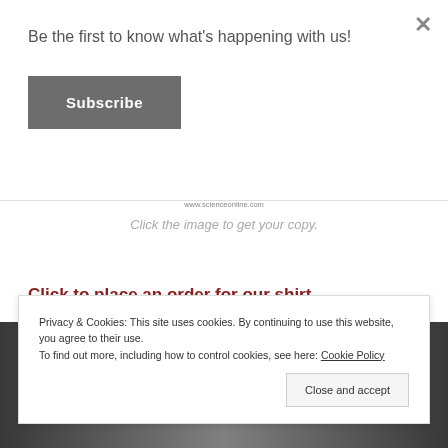Be the first to know what’s happening with us!
Subscribe
×
www.scienceonline.com
Click the image to get your copy.
Click to place an order for our shirt
[Figure (photo): Dark strip image at the bottom of the page, partially visible]
Privacy & Cookies: This site uses cookies. By continuing to use this website, you agree to their use.
To find out more, including how to control cookies, see here: Cookie Policy
Close and accept